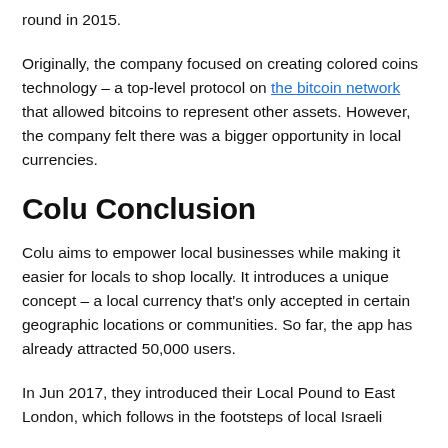round in 2015.
Originally, the company focused on creating colored coins technology – a top-level protocol on the bitcoin network that allowed bitcoins to represent other assets. However, the company felt there was a bigger opportunity in local currencies.
Colu Conclusion
Colu aims to empower local businesses while making it easier for locals to shop locally. It introduces a unique concept – a local currency that's only accepted in certain geographic locations or communities. So far, the app has already attracted 50,000 users.
In Jun 2017, they introduced their Local Pound to East London, which follows in the footsteps of local Israeli